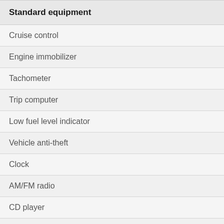| Standard equipment |
| --- |
| Cruise control |
| Engine immobilizer |
| Tachometer |
| Trip computer |
| Low fuel level indicator |
| Vehicle anti-theft |
| Clock |
| AM/FM radio |
| CD player |
| Power Steering |
| Tilt steering wheel |